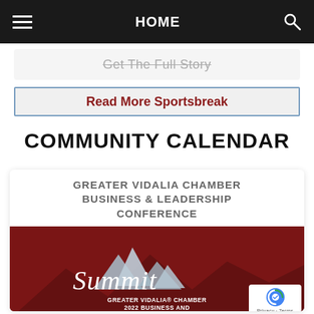HOME
Get The Full Story
Read More Sportsbreak
COMMUNITY CALENDAR
GREATER VIDALIA CHAMBER BUSINESS & LEADERSHIP CONFERENCE
[Figure (illustration): Summit conference promotional graphic with mountain silhouette logo, cursive 'Summit' text, and text reading 'GREATER VIDALIA® CHAMBER 2022 BUSINESS AND LEADERSHIP CONFERENCE' on a dark red background.]